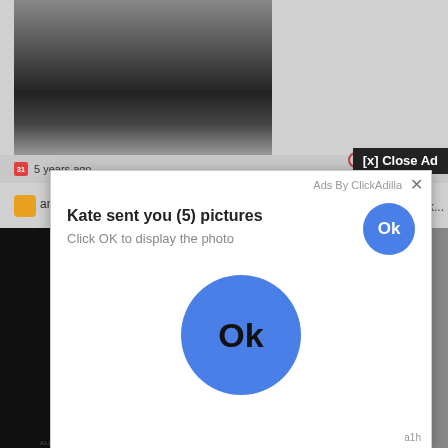[Figure (screenshot): Grayscale photo partially visible at top of page]
5 years ago
[x] Close Ad
0:55
wink...
[Figure (screenshot): Ad overlay popup. Title: Kate sent you (5) pictures. Subtitle: Click OK to display the photo. Blue Ok button top right and large blue Ok button center.]
Ads By ClickAdilla
Kate sent you (5) pictures
Click OK to display the photo
Ok
Ok
a1h